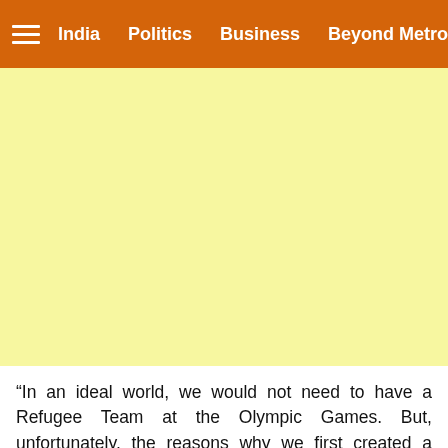India   Politics   Business   Beyond Metros
[Figure (other): Yellow advertisement placeholder banner]
“In an ideal world, we would not need to have a Refugee Team at the Olympic Games. But, unfortunately, the reasons why we first created a Refugee Olympic Team